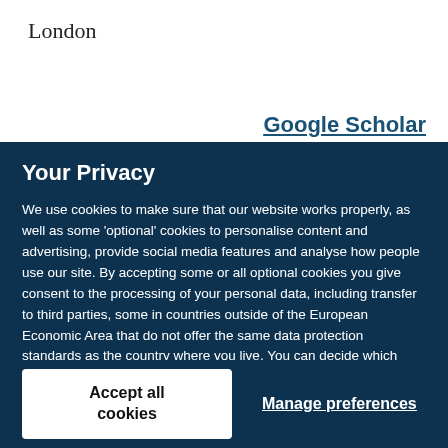London
Google Scholar
Your Privacy
We use cookies to make sure that our website works properly, as well as some 'optional' cookies to personalise content and advertising, provide social media features and analyse how people use our site. By accepting some or all optional cookies you give consent to the processing of your personal data, including transfer to third parties, some in countries outside of the European Economic Area that do not offer the same data protection standards as the country where you live. You can decide which optional cookies to accept by clicking on 'Manage Settings', where you can also find more information about how your personal data is processed. Further information can be found in our privacy policy.
Accept all cookies
Manage preferences